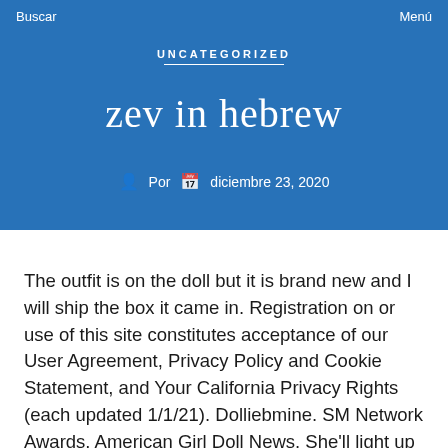Buscar   Menú
UNCATEGORIZED
zev in hebrew
Por   diciembre 23, 2020
The outfit is on the doll but it is brand new and I will ship the box it came in. Registration on or use of this site constitutes acceptance of our User Agreement, Privacy Policy and Cookie Statement, and Your California Privacy Rights (each updated 1/1/21). Dolliebmine. SM Network Awards. American Girl Doll News. She'll light up